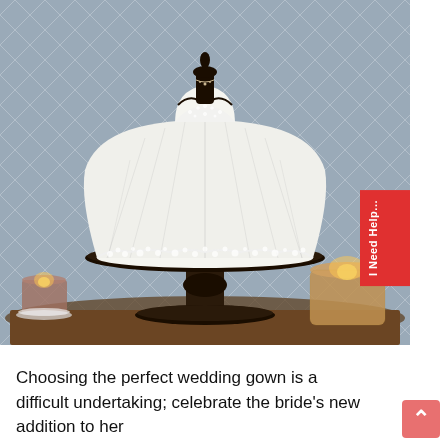[Figure (photo): A wedding dress-shaped cake on a black cake stand, displayed against a blue-grey diamond lattice wallpaper background, with gold votive candles on either side. The cake is white with floral lace details and a mannequin torso topper wearing a pearl necklace.]
Choosing the perfect wedding gown is a difficult undertaking; celebrate the bride's new addition to her